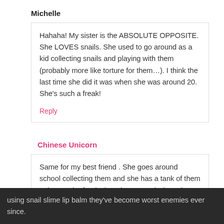Michelle
Hahaha! My sister is the ABSOLUTE OPPOSITE. She LOVES snails. She used to go around as a kid collecting snails and playing with them (probably more like torture for them…). I think the last time she did it was when she was around 20. She's such a freak!
Reply
Chinese Unicorn
Same for my best friend . She goes around school collecting them and she has a tank of them at home.She feeds them lettuce and when she saw a girl in our class using snail slime lip balm they've become worst enemies ever since.